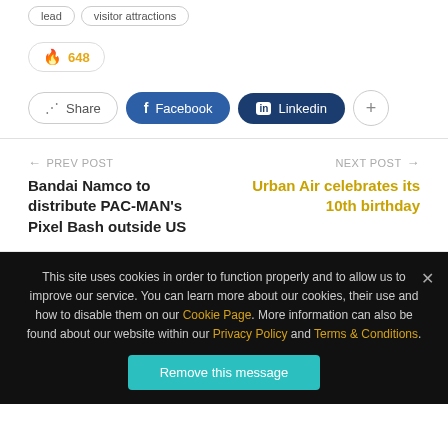lead
visitor attractions
648
Share  Facebook  Linkedin
PREV POST
Bandai Namco to distribute PAC-MAN's Pixel Bash outside US
NEXT POST
Urban Air celebrates its 10th birthday
This site uses cookies in order to function properly and to allow us to improve our service. You can learn more about our cookies, their use and how to disable them on our Cookie Page. More information can also be found about our website within our Privacy Policy and Terms & Conditions.
Remove this message